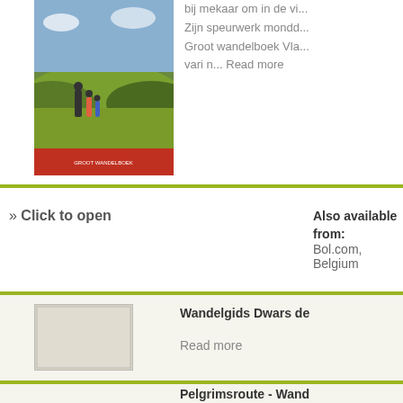[Figure (photo): Book cover showing family walking in countryside fields]
bij mekaar om in de vi... Zijn speurwerk mondd... Groot wandelboek Vla... vari n... Read more
» Click to open
Also available from:
Bol.com, Belgium
Wandelgids Dwars de
Read more
Pelgrimsroute - Wand
Read more
More books…
Maps
East Flanders & Hein